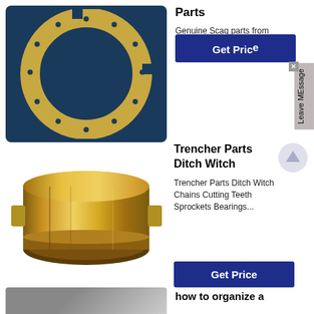[Figure (photo): Circular ring/flange part (gold colored) on dark blue background]
Parts
Genuine Scag parts from an Authorized SCAG Dealer. Scagparts is you
Get Price
[Figure (photo): Gold/brass cylindrical bushing or bearing part on white background]
Trencher Parts Ditch Witch
Trencher Parts Ditch Witch Chains Cutting Teeth Sprockets Bearings...
Get Price
[Figure (photo): Partial view of a metal part, gray colored]
how to organize a